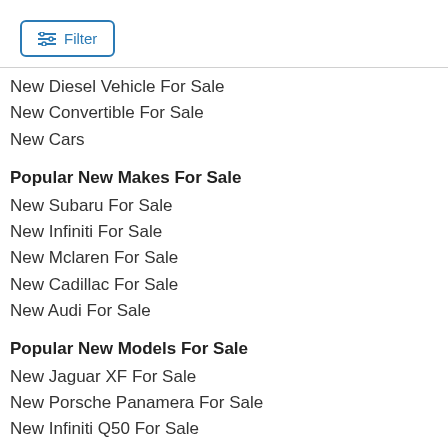[Figure (other): Filter button with sliders icon and blue border]
New Diesel Vehicle For Sale
New Convertible For Sale
New Cars
Popular New Makes For Sale
New Subaru For Sale
New Infiniti For Sale
New Mclaren For Sale
New Cadillac For Sale
New Audi For Sale
Popular New Models For Sale
New Jaguar XF For Sale
New Porsche Panamera For Sale
New Infiniti Q50 For Sale
New Hyundai Venue For Sale
New BMW X5 For Sale